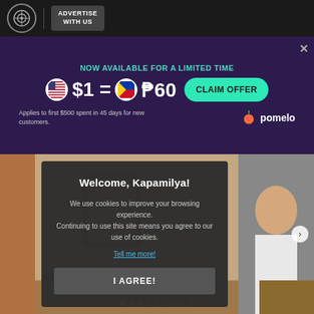ADVERTISE WITH US
[Figure (infographic): Advertisement banner: NOW AVAILABLE FOR A LIMITED TIME. $1 = ₱60. CLAIM OFFER. Applies to first $500 spent in 45 days for new customers. Pomelo branding.]
[Figure (photo): Background photo of a room/home setting with a person visible on the right side. Cookie consent modal overlay.]
Welcome, Kapamilya!
We use cookies to improve your browsing experience. Continuing to use this site means you agree to our use of cookies.
Tell me more!
I AGREE!